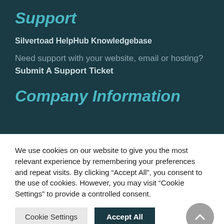Support
Silvertoad HelpHub Knowledgebase
Need support with your website, email or hosting? Submit A Support Ticket
Company Information
We use cookies on our website to give you the most relevant experience by remembering your preferences and repeat visits. By clicking “Accept All”, you consent to the use of cookies. However, you may visit “Cookie Settings” to provide a controlled consent.